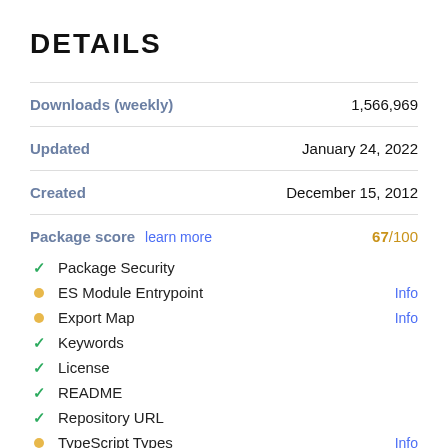DETAILS
| Field | Value |
| --- | --- |
| Downloads (weekly) | 1,566,969 |
| Updated | January 24, 2022 |
| Created | December 15, 2012 |
Package score  learn more  67/100
✓ Package Security
• ES Module Entrypoint  Info
• Export Map  Info
✓ Keywords
✓ License
✓ README
✓ Repository URL
• TypeScript Types  Info